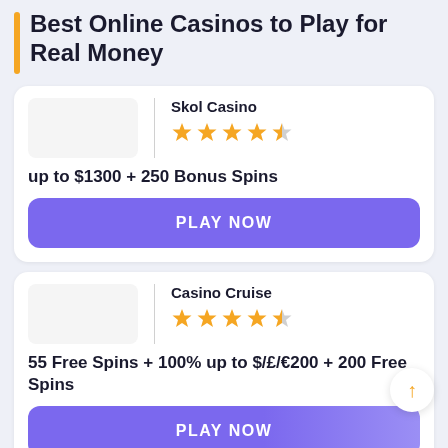Best Online Casinos to Play for Real Money
Skol Casino
★★★★½
up to $1300 + 250 Bonus Spins
PLAY NOW
Casino Cruise
★★★★½
55 Free Spins + 100% up to $/£/€200 + 200 Free Spins
PLAY NOW